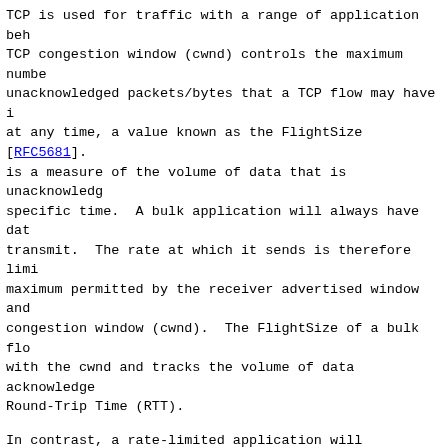TCP is used for traffic with a range of application beh TCP congestion window (cwnd) controls the maximum numbe unacknowledged packets/bytes that a TCP flow may have i at any time, a value known as the FlightSize [RFC5681]. is a measure of the volume of data that is unacknowledg specific time.  A bulk application will always have dat transmit.  The rate at which it sends is therefore limi maximum permitted by the receiver advertised window and congestion window (cwnd).  The FlightSize of a bulk flo with the cwnd and tracks the volume of data acknowledge Round-Trip Time (RTT).
In contrast, a rate-limited application will experience the sender is either idle or unable to send at the maxi permitted by the cwnd.  In this case, the volume of dat (FlightSize) can change significantly from one RTT to a be much less than the cwnd.  Hence, it is possible that FlightSize could significantly exceed the recently used The update in this document targets the operation of TC rate-limited cases.
Standard TCP states that a TCP sender SHOULD set cwnd t the Restart Window (RW) before beginning transmission i sender has not sent data in an interval exceeding the r timeout, i.e., when an application becomes idle [RFC568 notes that this TCP behaviour was not always observed i implementations.  Experiments confirm this to still be [Bis08]).
Congestion Window Validation (CWV) [RFC2861] introduced